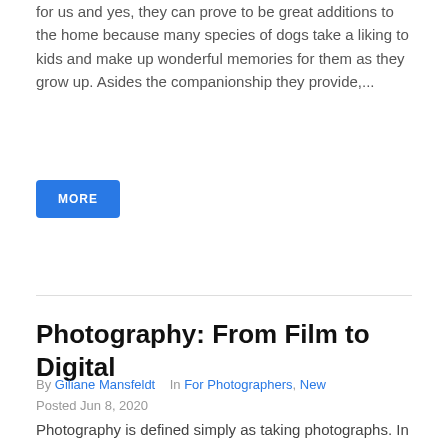for us and yes, they can prove to be great additions to the home because many species of dogs take a liking to kids and make up wonderful memories for them as they grow up. Asides the companionship they provide,...
MORE
Photography: From Film to Digital
By Giliane Mansfeldt   In For Photographers, New
Posted Jun 8, 2020
Photography is defined simply as taking photographs. In a bit more technical terms, photography is the capturing of light to create a two dimensional image on a medium such as film or digital media. Photography can be beneficial both for financial gain or personal pleasure. Those who do photography as